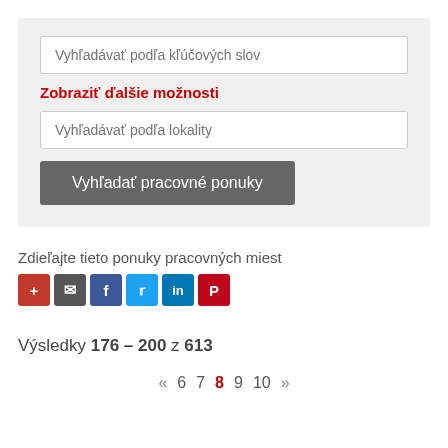Vyhľadávať podľa kľúčových slov
Zobraziť ďalšie možnosti
Vyhľadávať podľa lokality
Vyhľadať pracovné ponuky
Zdieľajte tieto ponuky pracovných miest
[Figure (infographic): Social share icons: plus, email, facebook, twitter, linkedin, pinterest]
Výsledky 176 – 200 z 613
« 6 7 8 9 10 »